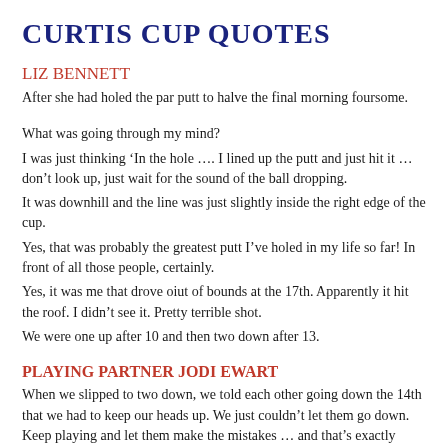CURTIS CUP QUOTES
LIZ BENNETT
After she had holed the par putt to halve the final morning foursome.
What was going through my mind?
I was just thinking ‘In the hole …. I lined up the putt and just hit it … don’t look up, just wait for the sound of the ball dropping.
It was downhill and the line was just slightly inside the right edge of the cup.
Yes, that was probably the greatest putt I’ve holed in my life so far! In front of all those people, certainly.
Yes, it was me that drove oiut of bounds at the 17th. Apparently it hit the roof. I didn’t see it. Pretty terrible shot.
We were one up after 10 and then two down after 13.
PLAYING PARTNER JODI EWART
When we slipped to two down, we told each other going down the 14th that we had to keep our heads up. We just couldn’t let them go down. Keep playing and let them make the mistakes … and that’s exactly what happened.